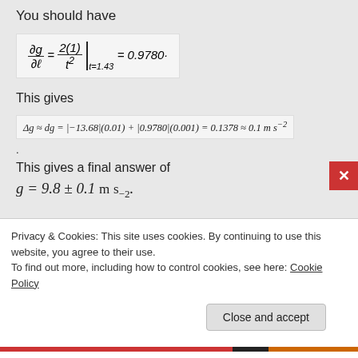You should have
This gives
.
This gives a final answer of
Privacy & Cookies: This site uses cookies. By continuing to use this website, you agree to their use.
To find out more, including how to control cookies, see here: Cookie Policy
Close and accept